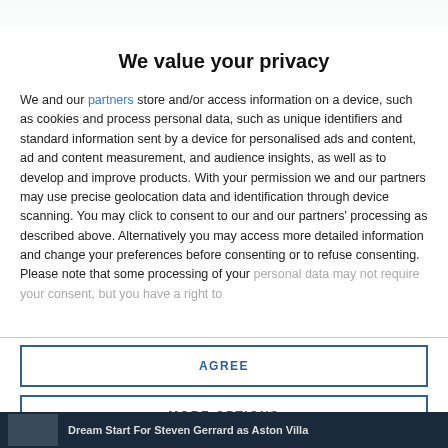We value your privacy
We and our partners store and/or access information on a device, such as cookies and process personal data, such as unique identifiers and standard information sent by a device for personalised ads and content, ad and content measurement, and audience insights, as well as to develop and improve products. With your permission we and our partners may use precise geolocation data and identification through device scanning. You may click to consent to our and our partners' processing as described above. Alternatively you may access more detailed information and change your preferences before consenting or to refuse consenting. Please note that some processing of your personal data may not require your consent, but you have a right to
AGREE
MORE OPTIONS
Dream Start For Steven Gerrard as Aston Villa